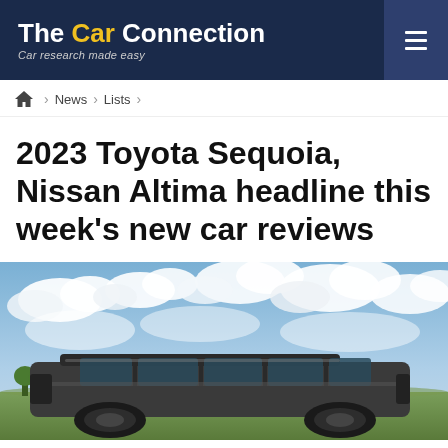The Car Connection — Car research made easy
Home > News > Lists
2023 Toyota Sequoia, Nissan Altima headline this week's new car reviews
[Figure (photo): Photo of a large dark-colored SUV (Toyota Sequoia) parked in a flat open landscape under a partly cloudy sky with fluffy white clouds.]